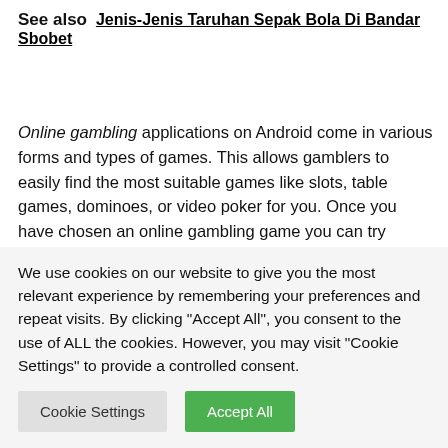See also  Jenis-Jenis Taruhan Sepak Bola Di Bandar Sbobet
Online gambling applications on Android come in various forms and types of games. This allows gamblers to easily find the most suitable games like slots, table games, dominoes, or video poker for you. Once you have chosen an online gambling game you can try several games to see how well you are gambling with real money in playing casually or professionally because the best of these will give you an edge.
We use cookies on our website to give you the most relevant experience by remembering your preferences and repeat visits. By clicking "Accept All", you consent to the use of ALL the cookies. However, you may visit "Cookie Settings" to provide a controlled consent.
Cookie Settings
Accept All